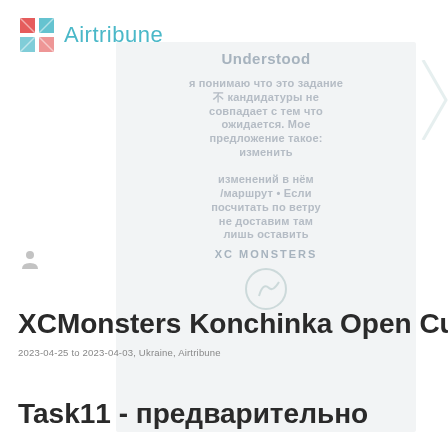Airtribune
[Figure (other): Semi-transparent ghost overlay card with Cyrillic and English watermark text and XC MONSTERS branding logo]
XCMonsters Konchinka Open Cu
2023-04-25 to 2023-04-03, Ukraine, Airtribune
Task11 - предварительно